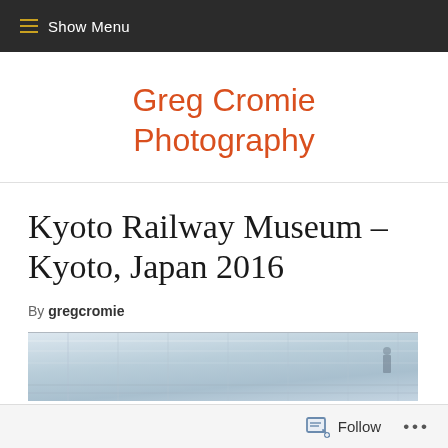≡ Show Menu
Greg Cromie Photography
Kyoto Railway Museum – Kyoto, Japan 2016
By gregcromie
[Figure (photo): Interior of Kyoto Railway Museum showing trains and station architecture]
Follow  ...